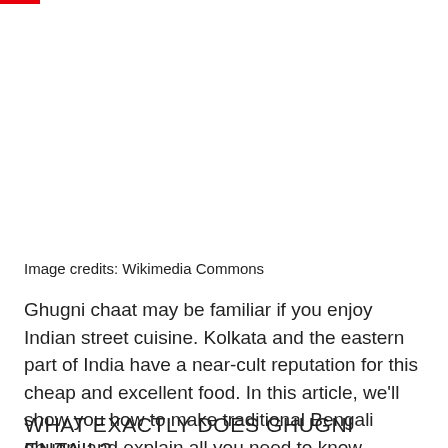Image credits: Wikimedia Commons
Ghugni chaat may be familiar if you enjoy Indian street cuisine. Kolkata and the eastern part of India have a near-cult reputation for this cheap and excellent food. In this article, we'll show you how to make traditional Bengali ghugni and explain all you need to know.
WHAT EXACTLY DOES GHUGNI ENTAIL?